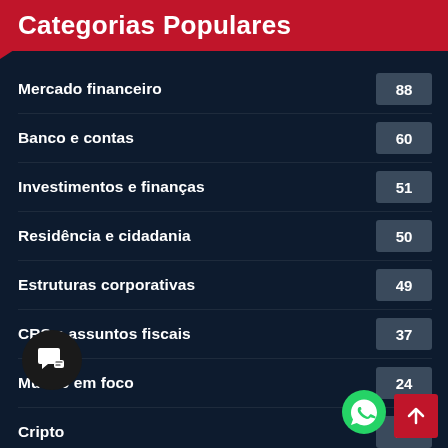Categorias Populares
Mercado financeiro — 88
Banco e contas — 60
Investimentos e finanças — 51
Residência e cidadania — 50
Estruturas corporativas — 49
CRS e assuntos fiscais — 37
Mundo em foco — 24
Cripto — 21
Licenças financeiras